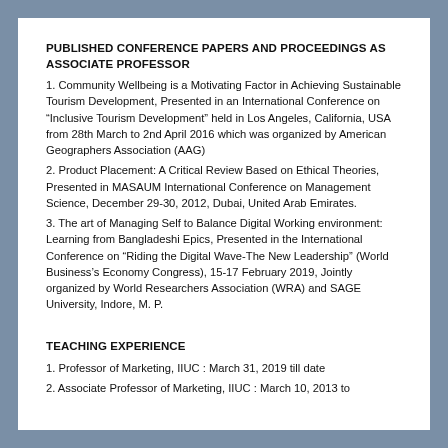PUBLISHED CONFERENCE PAPERS AND PROCEEDINGS AS ASSOCIATE PROFESSOR
1. Community Wellbeing is a Motivating Factor in Achieving Sustainable Tourism Development, Presented in an International Conference on “Inclusive Tourism Development” held in Los Angeles, California, USA from 28th March to 2nd April 2016 which was organized by American Geographers Association (AAG)
2. Product Placement: A Critical Review Based on Ethical Theories, Presented in MASAUM International Conference on Management Science, December 29-30, 2012, Dubai, United Arab Emirates.
3. The art of Managing Self to Balance Digital Working environment: Learning from Bangladeshi Epics, Presented in the International Conference on “Riding the Digital Wave-The New Leadership” (World Business’s Economy Congress), 15-17 February 2019, Jointly organized by World Researchers Association (WRA) and SAGE University, Indore, M. P.
TEACHING EXPERIENCE
1. Professor of Marketing, IIUC : March 31, 2019 till date
2. Associate Professor of Marketing, IIUC : March 10, 2013 to